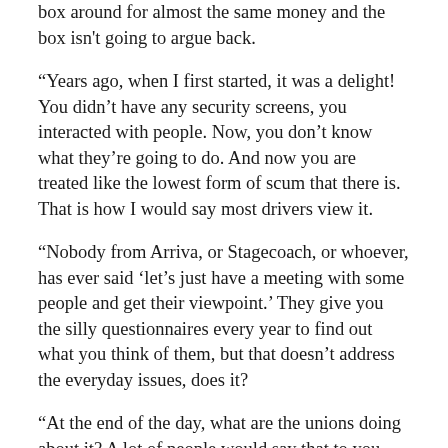box around for almost the same money and the box isn't going to argue back.
“Years ago, when I first started, it was a delight! You didn’t have any security screens, you interacted with people. Now, you don’t know what they’re going to do. And now you are treated like the lowest form of scum that there is. That is how I would say most drivers view it.
“Nobody from Arriva, or Stagecoach, or whoever, has ever said ‘let’s just have a meeting with some people and get their viewpoint.’ They give you the silly questionnaires every year to find out what you think of them, but that doesn’t address the everyday issues, does it?
“At the end of the day, what are the unions doing about it? A lot of people would say that to you, ‘What are the unions actually doing now?’. Don’t get me wrong, they defend you to a degree. But how they do it now is—and I